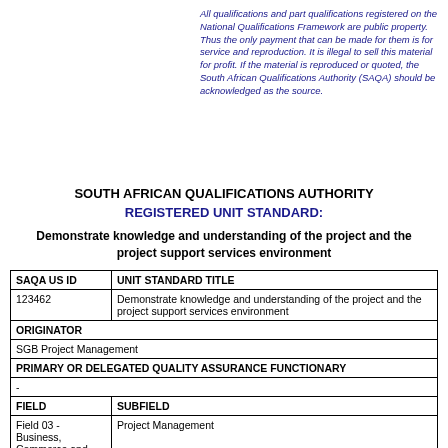All qualifications and part qualifications registered on the National Qualifications Framework are public property. Thus the only payment that can be made for them is for service and reproduction. It is illegal to sell this material for profit. If the material is reproduced or quoted, the South African Qualifications Authority (SAQA) should be acknowledged as the source.
SOUTH AFRICAN QUALIFICATIONS AUTHORITY
REGISTERED UNIT STANDARD:
Demonstrate knowledge and understanding of the project and the project support services environment
| SAQA US ID | UNIT STANDARD TITLE |
| --- | --- |
| 123462 | Demonstrate knowledge and understanding of the project and the project support services environment |
| ORIGINATOR |  |
| SGB Project Management |  |
| PRIMARY OR DELEGATED QUALITY ASSURANCE FUNCTIONARY |  |
| - |  |
| FIELD | SUBFIELD |
| Field 03 - Business, Commerce and Management Studies | Project Management |